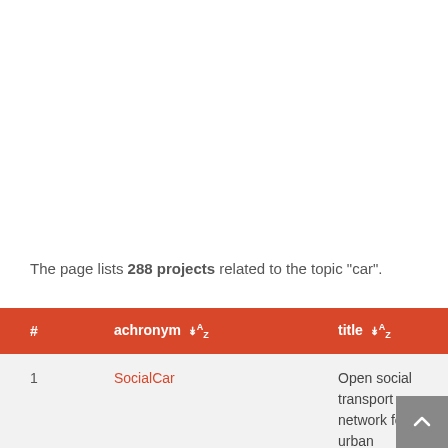The page lists 288 projects related to the topic "car".
| # | achronym ↓A/Z | title ↓A/Z |
| --- | --- | --- |
| 1 | SocialCar | Open social transport network for urban approach to carpooling |